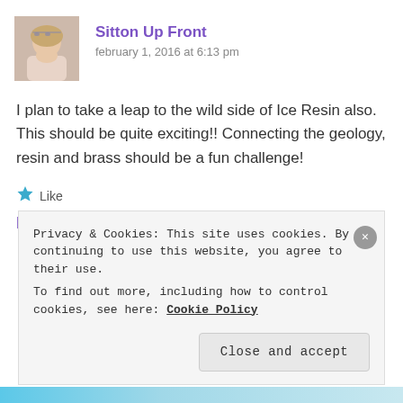[Figure (photo): Avatar photo of a middle-aged woman with glasses and short blonde hair]
Sitton Up Front
february 1, 2016 at 6:13 pm
I plan to take a leap to the wild side of Ice Resin also. This should be quite exciting!! Connecting the geology, resin and brass should be a fun challenge!
★ Like
Reply
Privacy & Cookies: This site uses cookies. By continuing to use this website, you agree to their use.
To find out more, including how to control cookies, see here: Cookie Policy
Close and accept